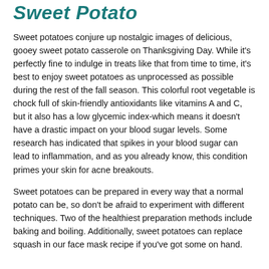Sweet Potato
Sweet potatoes conjure up nostalgic images of delicious, gooey sweet potato casserole on Thanksgiving Day. While it's perfectly fine to indulge in treats like that from time to time, it's best to enjoy sweet potatoes as unprocessed as possible during the rest of the fall season. This colorful root vegetable is chock full of skin-friendly antioxidants like vitamins A and C, but it also has a low glycemic index-which means it doesn't have a drastic impact on your blood sugar levels. Some research has indicated that spikes in your blood sugar can lead to inflammation, and as you already know, this condition primes your skin for acne breakouts.
Sweet potatoes can be prepared in every way that a normal potato can be, so don't be afraid to experiment with different techniques. Two of the healthiest preparation methods include baking and boiling. Additionally, sweet potatoes can replace squash in our face mask recipe if you've got some on hand.